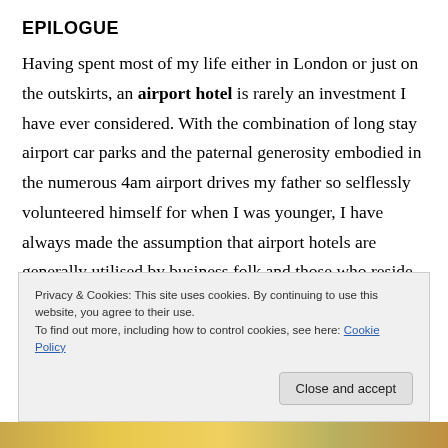EPILOGUE
Having spent most of my life either in London or just on the outskirts, an airport hotel is rarely an investment I have ever considered. With the combination of long stay airport car parks and the paternal generosity embodied in the numerous 4am airport drives my father so selflessly volunteered himself for when I was younger, I have always made the assumption that airport hotels are generally utilised by business folk and those who reside
Privacy & Cookies: This site uses cookies. By continuing to use this website, you agree to their use.
To find out more, including how to control cookies, see here: Cookie Policy
[Figure (photo): Partial view of a photo strip at the bottom showing a golden/yellow sky or landscape scene.]